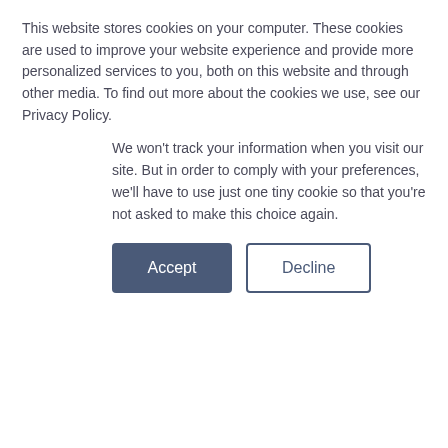This website stores cookies on your computer. These cookies are used to improve your website experience and provide more personalized services to you, both on this website and through other media. To find out more about the cookies we use, see our Privacy Policy.
We won't track your information when you visit our site. But in order to comply with your preferences, we'll have to use just one tiny cookie so that you're not asked to make this choice again.
Accept | Decline
mrShopop
07 September 2021
Tags: Products & Services  Transactions